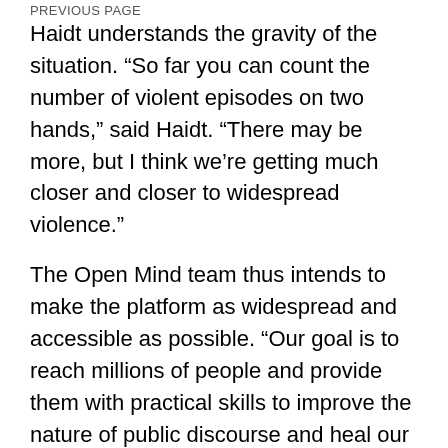PREVIOUS PAGE
Haidt understands the gravity of the situation. “So far you can count the number of violent episodes on two hands,” said Haidt. “There may be more, but I think we’re getting much closer and closer to widespread violence.”
The Open Mind team thus intends to make the platform as widespread and accessible as possible. “Our goal is to reach millions of people and provide them with practical skills to improve the nature of public discourse and heal our national divisions,” said Mehl.
But a crucial aspect of this strategy is to target entire communities and organizations, rather than individuals. “Our hypothesis,” explained Mehl, “is that the effects of the program will be far more powerful at scale – when an entire campus completes the same training and can